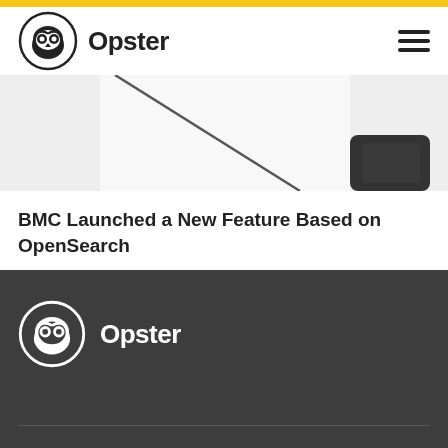Opster
[Figure (illustration): Partial view of a stylized article thumbnail image showing angled lines and a dark rounded shape on light gray background]
BMC Launched a New Feature Based on OpenSearch
[Figure (logo): Opster logo in white on dark gray footer background — owl icon in circle with Opster text beside it]